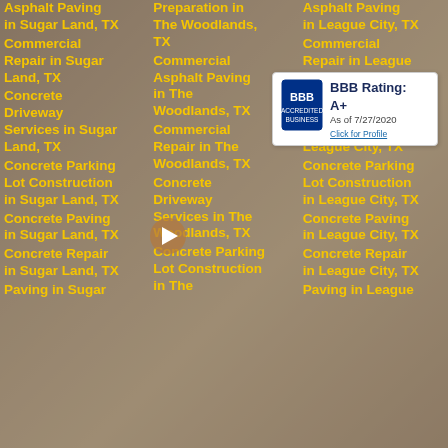[Figure (screenshot): Background image of commercial building/construction site with brownish overlay]
Asphalt Paving in Sugar Land, TX
Commercial Repair in Sugar Land, TX
Concrete Driveway Services in Sugar Land, TX
Concrete Parking Lot Construction in Sugar Land, TX
Concrete Paving in Sugar Land, TX
Concrete Repair in Sugar Land, TX
Paving in Sugar Land
Preparation in The Woodlands, TX
Commercial Asphalt Paving in The Woodlands, TX
Commercial Repair in The Woodlands, TX
Concrete Driveway Services in The Woodlands, TX
Concrete Parking Lot Construction in The
Asphalt Paving in League City, TX
Commercial Repair in League City, TX
Concrete Driveway Services in League City, TX
Concrete Parking Lot Construction in League City, TX
Concrete Paving in League City, TX
Concrete Repair in League City, TX
Paving in League
[Figure (logo): BBB Accredited Business badge with A+ rating as of 7/27/2020]